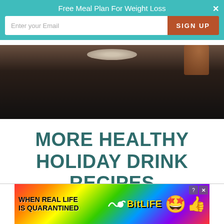Free Meal Plan For Weight Loss
[Figure (screenshot): Email signup popup bar with teal background, email input field, and orange SIGN UP button]
[Figure (photo): Dark close-up photo of a drink or mug, showing dark background with a light-colored rim at the top]
MORE HEALTHY HOLIDAY DRINK RECIPES
[Figure (screenshot): BitLife advertisement banner with rainbow gradient background showing text WHEN REAL LIFE IS QUARANTINED with star-eyes emoji and BitLife logo]